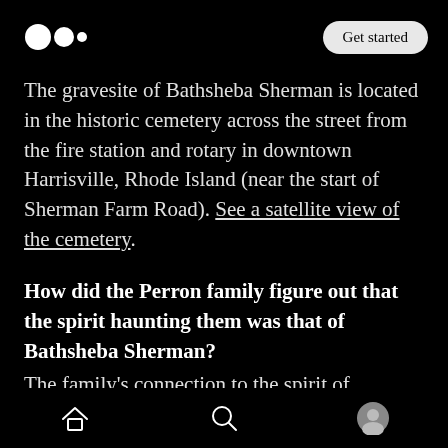Medium logo | Get started
The gravesite of Bathsheba Sherman is located in the historic cemetery across the street from the fire station and rotary in downtown Harrisville, Rhode Island (near the start of Sherman Farm Road). See a satellite view of the cemetery.
How did the Perron family figure out that the spirit haunting them was that of Bathsheba Sherman?
The family's connection to the spirit of Bathsheba Sherman came at the suggestion of
Home | Search | Profile